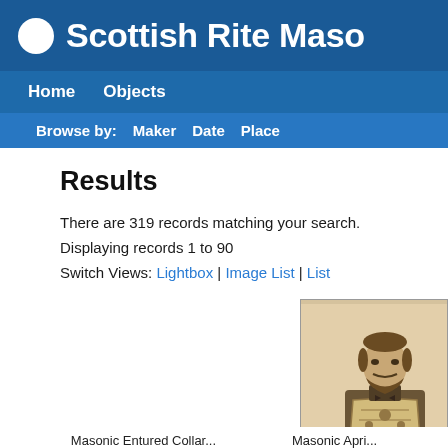Scottish Rite Maso
Home  Objects
Browse by:  Maker  Date  Place
Results
There are 319 records matching your search.
Displaying records 1 to 90
Switch Views: Lightbox | Image List | List
[Figure (photo): Sepia-toned vintage portrait photograph of a man wearing Masonic regalia including an ornate sash/apron with decorative embroidery, seated or standing facing the camera.]